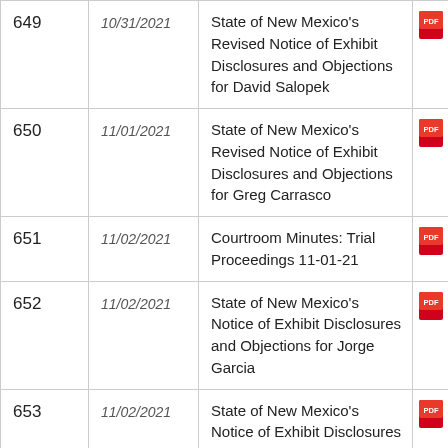| # | Date | Description |  |
| --- | --- | --- | --- |
| 649 | 10/31/2021 | State of New Mexico's Revised Notice of Exhibit Disclosures and Objections for David Salopek | PDF |
| 650 | 11/01/2021 | State of New Mexico's Revised Notice of Exhibit Disclosures and Objections for Greg Carrasco | PDF |
| 651 | 11/02/2021 | Courtroom Minutes: Trial Proceedings 11-01-21 | PDF |
| 652 | 11/02/2021 | State of New Mexico's Notice of Exhibit Disclosures and Objections for Jorge Garcia | PDF |
| 653 | 11/02/2021 | State of New Mexico's Notice of Exhibit Disclosures and Objections for Scott | PDF |